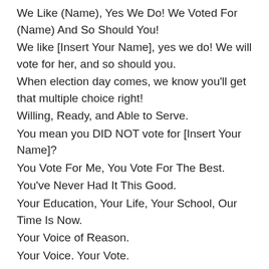We Like (Name), Yes We Do! We Voted For (Name) And So Should You!
We like [Insert Your Name], yes we do! We will vote for her, and so should you.
When election day comes, we know you'll get that multiple choice right!
Willing, Ready, and Able to Serve.
You mean you DID NOT vote for [Insert Your Name]?
You Vote For Me, You Vote For The Best.
You've Never Had It This Good.
Your Education, Your Life, Your School, Our Time Is Now.
Your Voice of Reason.
Your Voice. Your Vote.